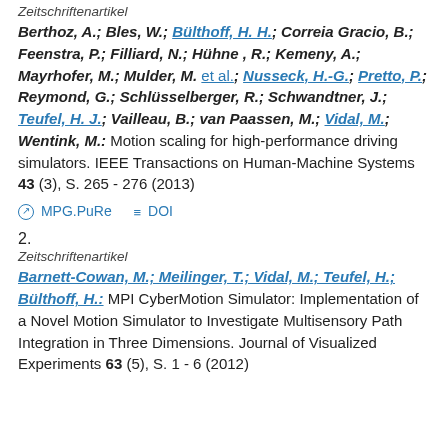Zeitschriftenartikel
Berthoz, A.; Bles, W.; Bülthoff, H. H.; Correia Gracio, B.; Feenstra, P.; Filliard, N.; Hühne , R.; Kemeny, A.; Mayrhofer, M.; Mulder, M. et al.; Nusseck, H.-G.; Pretto, P.; Reymond, G.; Schlüsselberger, R.; Schwandtner, J.; Teufel, H. J.; Vailleau, B.; van Paassen, M.; Vidal, M.; Wentink, M.: Motion scaling for high-performance driving simulators. IEEE Transactions on Human-Machine Systems 43 (3), S. 265 - 276 (2013)
MPG.PuRe   DOI
2.
Zeitschriftenartikel
Barnett-Cowan, M.; Meilinger, T.; Vidal, M.; Teufel, H.; Bülthoff, H.: MPI CyberMotion Simulator: Implementation of a Novel Motion Simulator to Investigate Multisensory Path Integration in Three Dimensions. Journal of Visualized Experiments 63 (5), S. 1 - 6 (2012)